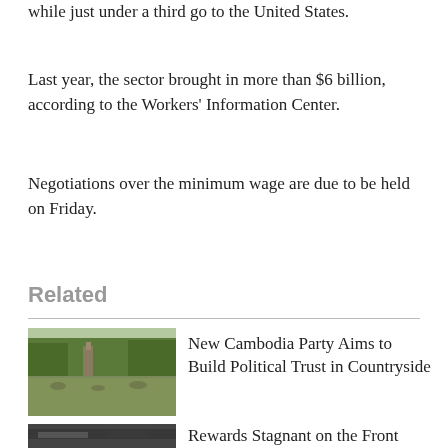while just under a third go to the United States.
Last year, the sector brought in more than $6 billion, according to the Workers' Information Center.
Negotiations over the minimum wage are due to be held on Friday.
Related
[Figure (photo): Outdoor scene with trees and rural landscape, horses or animals in a field near a temple structure]
New Cambodia Party Aims to Build Political Trust in Countryside
[Figure (photo): Dark image, appears to be a military or conflict-related photograph]
Rewards Stagnant on the Front Lines